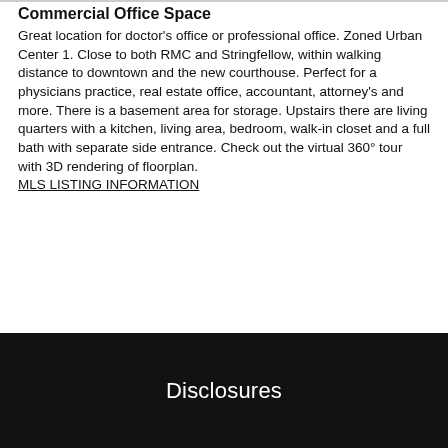Commercial Office Space
Great location for doctor's office or professional office. Zoned Urban Center 1. Close to both RMC and Stringfellow, within walking distance to downtown and the new courthouse. Perfect for a physicians practice, real estate office, accountant, attorney's and more. There is a basement area for storage. Upstairs there are living quarters with a kitchen, living area, bedroom, walk-in closet and a full bath with separate side entrance. Check out the virtual 360° tour with 3D rendering of floorplan.
MLS LISTING INFORMATION
[Figure (other): Purple rounded rectangle button labeled '360 Tour']
[Figure (other): Circular button with upward chevron arrow]
Disclosures